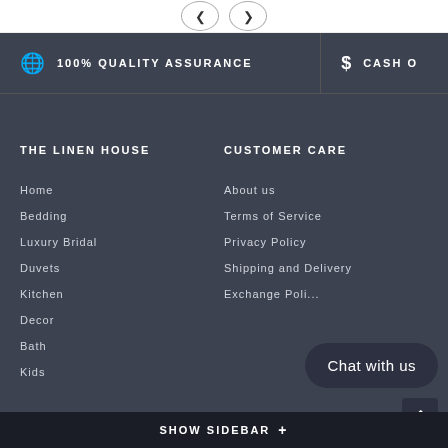[Figure (screenshot): Navigation previous/next arrow buttons at top of page]
100% QUALITY ASSURANCE
$ CASH O...
THE LINEN HOUSE
CUSTOMER CARE
Home
About us
Bedding
Terms of Service
Luxury Bridal
Privacy Policy
Duvets
Shipping and Delivery
Kitchen
Exchange Poli...
Decor
Bath
Kids
Chat with us
SHOW SIDEBAR +